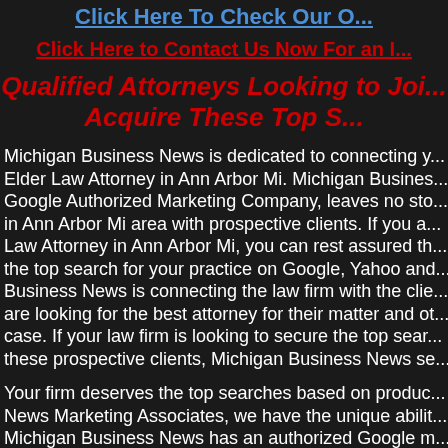Click Here To Check Our O...
Click Here to Contact Us Now For an I...
Qualified Attorneys Looking to Joi... Acquire These Top S...
Michigan Business News is dedicated to connecting y... Elder Law Attorney in Ann Arbor Mi. Michigan Busines... Google Authorized Marketing Company, leaves no sto... in Ann Arbor Mi area with prospective clients. If you a... Law Attorney in Ann Arbor Mi, you can rest assured th... the top search for your practice on Google, Yahoo and... Business News is connecting the law firm with the clie... are looking for the best attorney for their matter and ot... case. If your law firm is looking to secure the top sear... these prospective clients, Michigan Business News se...
Your firm deserves the top searches based on produc... News Marketing Associates, we have the unique abilit... Michigan Business News has an authorized Google m... needs. If you require additional searches, contact us...